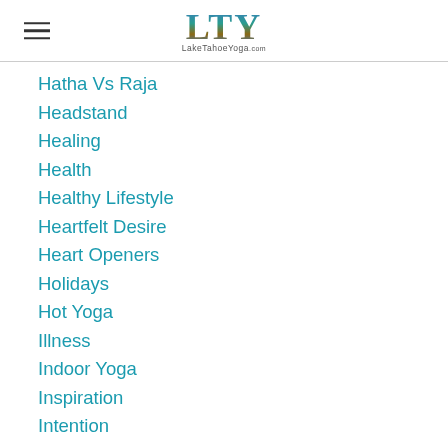LTY LakeTahoeYoga.com
Hatha Vs Raja
Headstand
Healing
Health
Healthy Lifestyle
Heartfelt Desire
Heart Openers
Holidays
Hot Yoga
Illness
Indoor Yoga
Inspiration
Intention
Iyengar
Jivanmukti
June
Karma